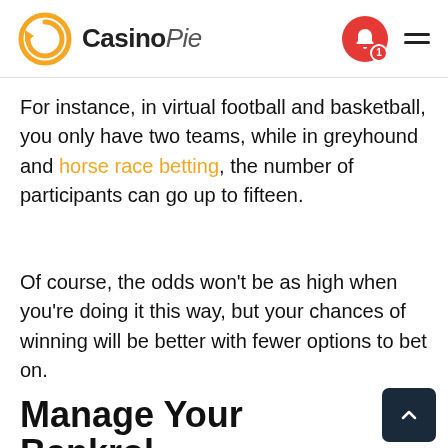CasinoPie
For instance, in virtual football and basketball, you only have two teams, while in greyhound and horse race betting, the number of participants can go up to fifteen.
Of course, the odds won't be as high when you're doing it this way, but your chances of winning will be better with fewer options to bet on.
Manage Your Bankrol